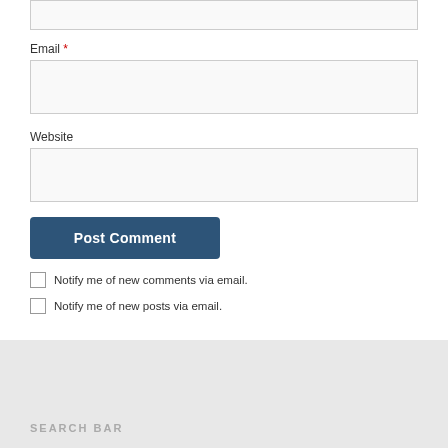Email *
Website
Post Comment
Notify me of new comments via email.
Notify me of new posts via email.
SEARCH BAR